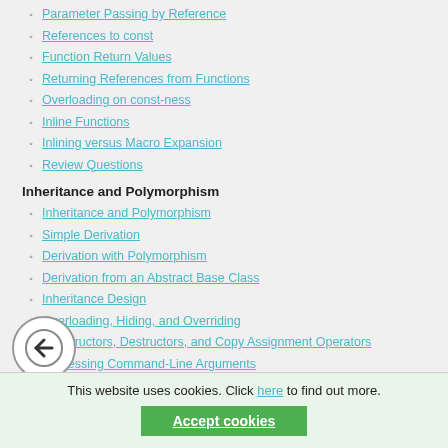Parameter Passing by Reference
References to const
Function Return Values
Returning References from Functions
Overloading on const-ness
Inline Functions
Inlining versus Macro Expansion
Review Questions
Inheritance and Polymorphism
Inheritance and Polymorphism
Simple Derivation
Derivation with Polymorphism
Derivation from an Abstract Base Class
Inheritance Design
Overloading, Hiding, and Overriding
Constructors, Destructors, and Copy Assignment Operators
Processing Command-Line Arguments
Points of Departure
Review Questions
Part II: Higher-Level Programming